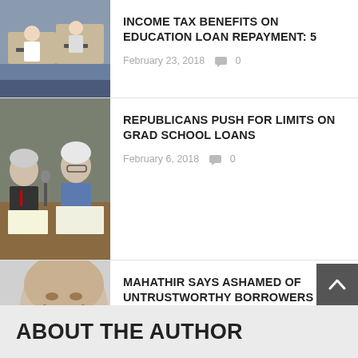[Figure (photo): Students sitting at desks in a classroom setting, partial view of the top article]
INCOME TAX BENEFITS ON EDUCATION LOAN REPAYMENT: 5
February 23, 2018  0
[Figure (photo): Elderly politicians or officials seated at a conference table with microphones]
REPUBLICANS PUSH FOR LIMITS ON GRAD SCHOOL LOANS
February 6, 2018  0
[Figure (photo): A group of people including what appears to be Mahathir and associates]
MAHATHIR SAYS ASHAMED OF UNTRUSTWORTHY BORROWERS OF
September 21, 2018  0
ABOUT THE AUTHOR